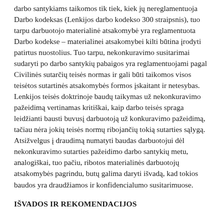darbo santykiams taikomos tik tiek, kiek jų nereglamentuoja Darbo kodeksas (Lenkijos darbo kodekso 300 straipsnis), tuo tarpu darbuotojo materialinė atsakomybė yra reglamentuota Darbo kodekse – materialinei atsakomybei kilti būtina įrodyti patirtus nuostolius. Tuo tarpu, nekonkuravimo susitarimai sudaryti po darbo santykių pabaigos yra reglamentuojami pagal Civilinės sutarčių teisės normas ir gali būti taikomos visos teisėtos sutartinės atsakomybės formos įskaitant ir netesybas. Lenkijos teisės doktrinoje baudų taikymas už nekonkuravimo pažeidimą vertinamas kritiškai, kaip darbo teisės spraga leidžianti bausti buvusį darbuotoją už konkuravimo pažeidimą, tačiau nėra jokių teisės normų ribojančių tokią sutarties sąlygą. Atsižvelgus į draudimą numatyti baudas darbuotojui dėl nekonkuravimo sutarties pažeidimo darbo santykių metu, analogiškai, tuo pačiu, ribotos materialinės darbuotojų atsakomybės pagrindu, butų galima daryti išvadą, kad tokios baudos yra draudžiamos ir konfidencialumo susitarimuose.
IŠVADOS IR REKOMENDACIJOS